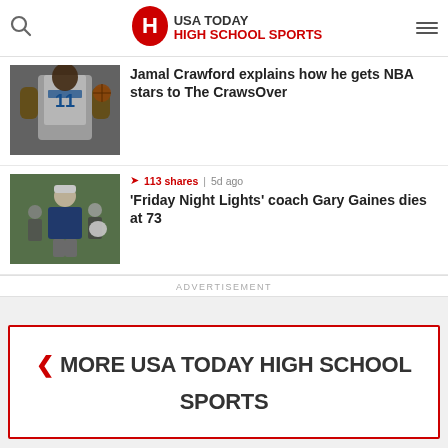USA TODAY HIGH SCHOOL SPORTS
Jamal Crawford explains how he gets NBA stars to The CrawsOver
[Figure (photo): Basketball player wearing jersey number 11, Los Angeles Clippers uniform]
[Figure (photo): Football coach in blue jacket standing on field with players]
113 shares | 5d ago
'Friday Night Lights' coach Gary Gaines dies at 73
ADVERTISEMENT
< MORE USA TODAY HIGH SCHOOL SPORTS